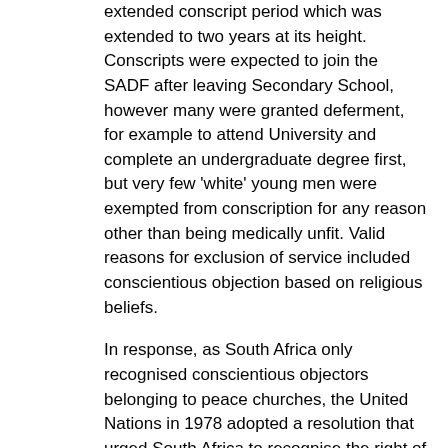extended conscript period which was extended to two years at its height. Conscripts were expected to join the SADF after leaving Secondary School, however many were granted deferment, for example to attend University and complete an undergraduate degree first, but very few 'white' young men were exempted from conscription for any reason other than being medically unfit. Valid reasons for exclusion of service included conscientious objection based on religious beliefs.
In response, as South Africa only recognised conscientious objectors belonging to peace churches, the United Nations in 1978 adopted a resolution that urged South Africa to recognise the right of all persons to refuse service in military forces used to enforce Apartheid, and at the same time urged other governments to grant asylum to those refusing conscription.
1983 The End Conscription Campaign formed
The Committee on South African War Resistance (COSAWR) was founded by political exiles in London and Amsterdam in the late 1970s, this organisation preceded the End Conscription Campaign (ECC) and it provided refuge for